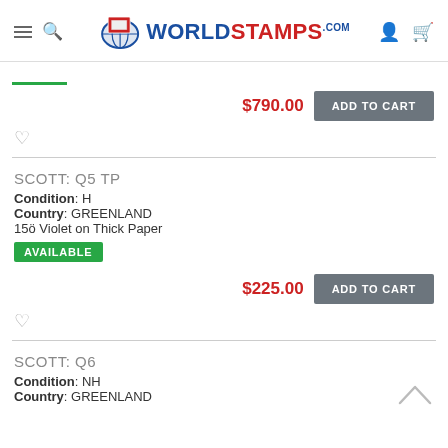WorldStamps.com
$790.00  ADD TO CART
♡
SCOTT: Q5 TP
Condition: H
Country: GREENLAND
15ö Violet on Thick Paper
AVAILABLE
$225.00  ADD TO CART
♡
SCOTT: Q6
Condition: NH
Country: GREENLAND